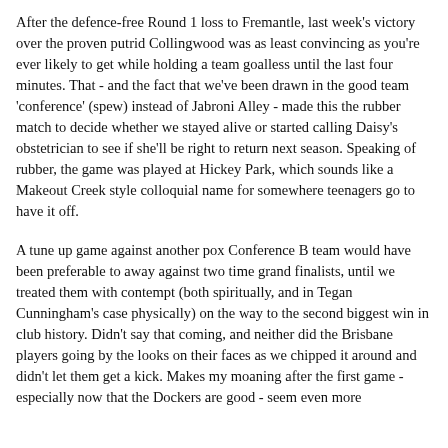After the defence-free Round 1 loss to Fremantle, last week's victory over the proven putrid Collingwood was as least convincing as you're ever likely to get while holding a team goalless until the last four minutes. That - and the fact that we've been drawn in the good team 'conference' (spew) instead of Jabroni Alley - made this the rubber match to decide whether we stayed alive or started calling Daisy's obstetrician to see if she'll be right to return next season. Speaking of rubber, the game was played at Hickey Park, which sounds like a Makeout Creek style colloquial name for somewhere teenagers go to have it off.
A tune up game against another pox Conference B team would have been preferable to away against two time grand finalists, until we treated them with contempt (both spiritually, and in Tegan Cunningham's case physically) on the way to the second biggest win in club history. Didn't say that coming, and neither did the Brisbane players going by the looks on their faces as we chipped it around and didn't let them get a kick. Makes my moaning after the first game - especially now that the Dockers are good - seem even more